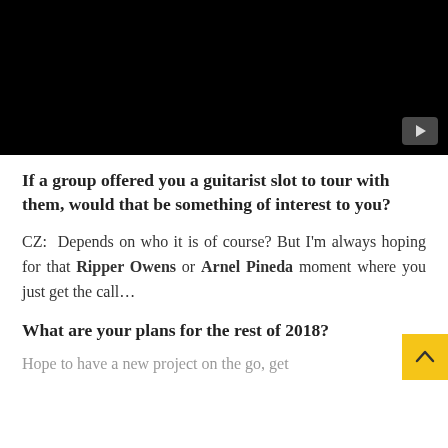[Figure (screenshot): Black video player thumbnail with a grey play button in the bottom-right corner]
If a group offered you a guitarist slot to tour with them, would that be something of interest to you?
CZ:  Depends on who it is of course? But I'm always hoping for that Ripper Owens or Arnel Pineda moment where you just get the call…
What are your plans for the rest of 2018?
Hope to have a new project on the go, get